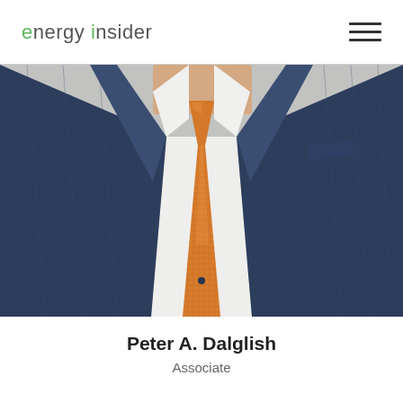energy insider
[Figure (photo): Professional headshot/portrait of a man in a navy blue suit with white dress shirt and orange/gold patterned tie. The photo is cropped at chest/torso level showing the suit lapels and tie prominently. Background is light grey/blurred.]
Peter A. Dalglish
Associate